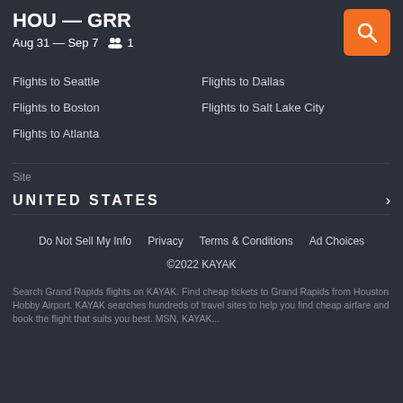HOU — GRR
Aug 31 — Sep 7  👥 1
Flights to Seattle
Flights to Dallas
Flights to Boston
Flights to Salt Lake City
Flights to Atlanta
Site
UNITED STATES
Do Not Sell My Info   Privacy   Terms & Conditions   Ad Choices
©2022 KAYAK
Search Grand Rapids flights on KAYAK. Find cheap tickets to Grand Rapids from Houston Hobby Airport. KAYAK searches hundreds of travel sites to help you find cheap airfare and book the flight that suits you best. MSN, KAYAK...